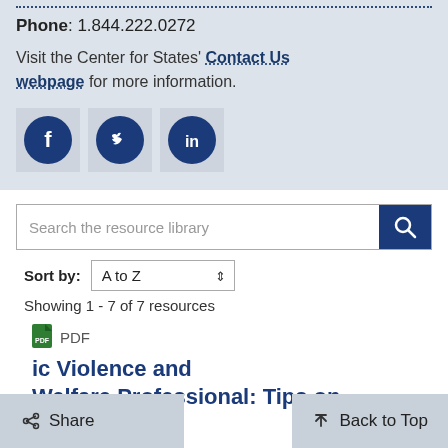Phone: 1.844.222.0272
Visit the Center for States' Contact Us webpage for more information.
[Figure (illustration): Three social media icons: Facebook, Twitter, and LinkedIn, displayed as white icons on dark blue circles against a light grey background.]
[Figure (screenshot): Search bar with placeholder text 'Search the resource library' and a dark blue search button with magnifying glass icon.]
Sort by: A to Z
Showing 1 - 7 of 7 resources
PDF
ic Violence and Welfare Professional: Tips on
< Share
Back to Top